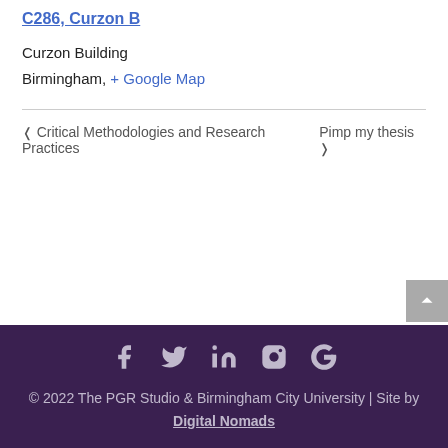C286, Curzon B
Curzon Building
Birmingham, + Google Map
< Critical Methodologies and Research Practices    Pimp my thesis >
© 2022 The PGR Studio & Birmingham City University | Site by Digital Nomads